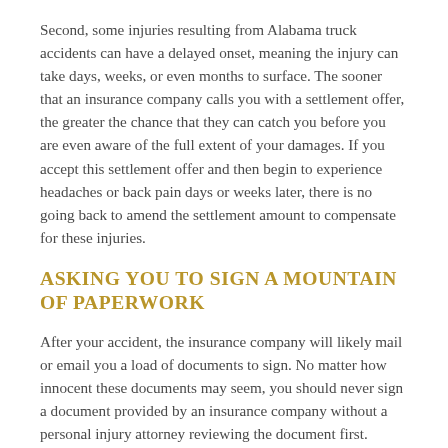Second, some injuries resulting from Alabama truck accidents can have a delayed onset, meaning the injury can take days, weeks, or even months to surface. The sooner that an insurance company calls you with a settlement offer, the greater the chance that they can catch you before you are even aware of the full extent of your damages. If you accept this settlement offer and then begin to experience headaches or back pain days or weeks later, there is no going back to amend the settlement amount to compensate for these injuries.
ASKING YOU TO SIGN A MOUNTAIN OF PAPERWORK
After your accident, the insurance company will likely mail or email you a load of documents to sign. No matter how innocent these documents may seem, you should never sign a document provided by an insurance company without a personal injury attorney reviewing the document first. Insurance companies are notorious for sneaking in clauses which do more than they may seem. It is a red